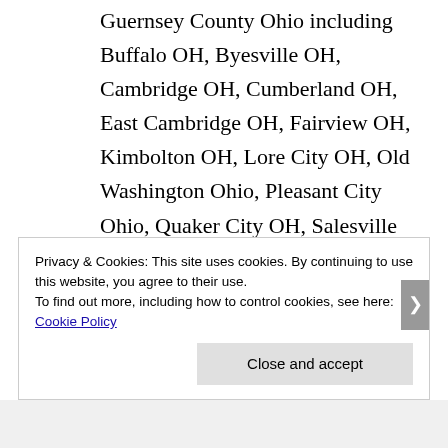Guernsey County Ohio including Buffalo OH, Byesville OH, Cambridge OH, Cumberland OH, East Cambridge OH, Fairview OH, Kimbolton OH, Lore City OH, Old Washington Ohio, Pleasant City Ohio, Quaker City OH, Salesville OH, Senecaville Ohio. Muskingum County Ohio including Adamsville OH, Dresdan OH,
Privacy & Cookies: This site uses cookies. By continuing to use this website, you agree to their use.
To find out more, including how to control cookies, see here: Cookie Policy